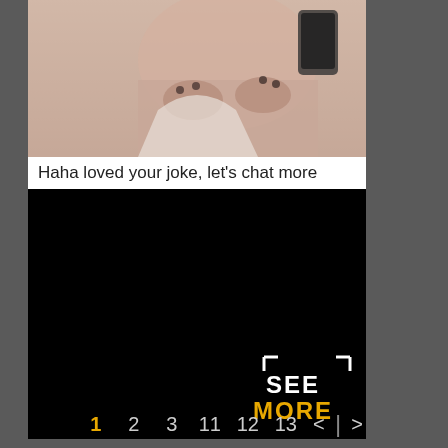[Figure (photo): Partially obscured photo of a person taking a mirror selfie]
Haha loved your joke, let's chat more
[Figure (photo): Black rectangle with SEE MORE overlay text in bottom right corner]
1  2  3  11  12  13  <  >